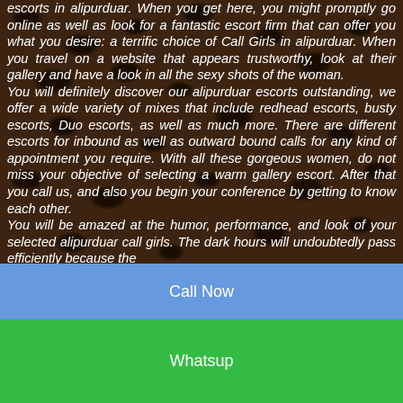escorts in alipurduar. When you get here, you might promptly go online as well as look for a fantastic escort firm that can offer you what you desire: a terrific choice of Call Girls in alipurduar. When you travel on a website that appears trustworthy, look at their gallery and have a look in all the sexy shots of the woman.
You will definitely discover our alipurduar escorts outstanding, we offer a wide variety of mixes that include redhead escorts, busty escorts, Duo escorts, as well as much more. There are different escorts for inbound as well as outward bound calls for any kind of appointment you require. With all these gorgeous women, do not miss your objective of selecting a warm gallery escort. After that you call us, and also you begin your conference by getting to know each other.
You will be amazed at the humor, performance, and look of your selected alipurduar call girls. The dark hours will undoubtedly pass efficiently because the
Call Now
Whatsup